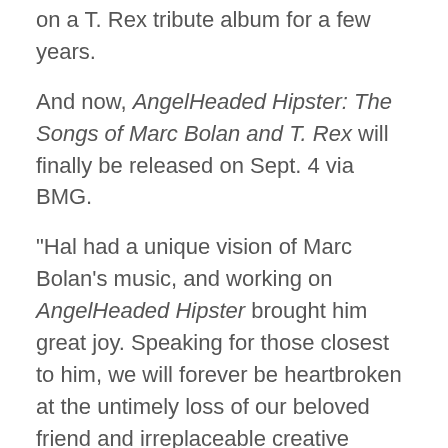on a T. Rex tribute album for a few years.
And now, AngelHeaded Hipster: The Songs of Marc Bolan and T. Rex will finally be released on Sept. 4 via BMG.
"Hal had a unique vision of Marc Bolan's music, and working on AngelHeaded Hipster brought him great joy. Speaking for those closest to him, we will forever be heartbroken at the untimely loss of our beloved friend and irreplaceable creative engine," Rachel Fox, supervising producer of AngelHeaded Hipster and longtime Willner collaborator, said in a statement. "Hal, who referred to AngelHeaded Hipster as his White Album, was eager for everyone to